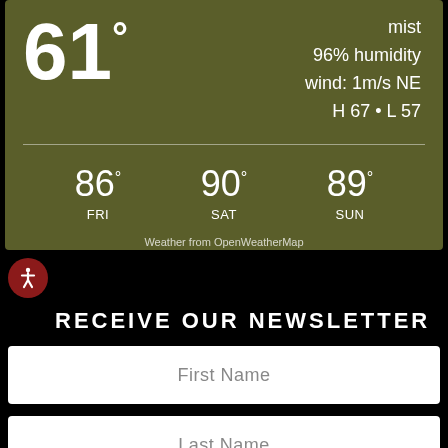[Figure (infographic): Weather widget on olive/dark green background showing current temperature 61°, mist, 96% humidity, wind: 1m/s NE, H 67 • L 57, and 3-day forecast: FRI 86°, SAT 90°, SUN 89°. Source: Weather from OpenWeatherMap.]
mist
96% humidity
wind: 1m/s NE
H 67 • L 57
86° FRI    90° SAT    89° SUN
Weather from OpenWeatherMap
RECEIVE OUR NEWSLETTER
First Name
Last Name
E-Mail Address